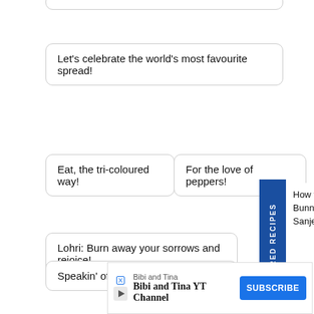Let's celebrate the world's most favourite spread!
Eat, the tri-coloured way!
For the love of peppers!
Lohri: Burn away your sorrows and rejoice!
Speakin' of spaghetti…
New Year calls for some unique recipes
Bring…
[Figure (infographic): FEATURED RECIPES tab (dark blue vertical banner) with popup showing 'How to make Paneer Tikka Masala Bunny Chow, recipe by MasterChef Sanjeev Kapoor' and a close button]
[Figure (infographic): Advertisement banner: Bibi and Tina YT Channel with SUBSCRIBE button]